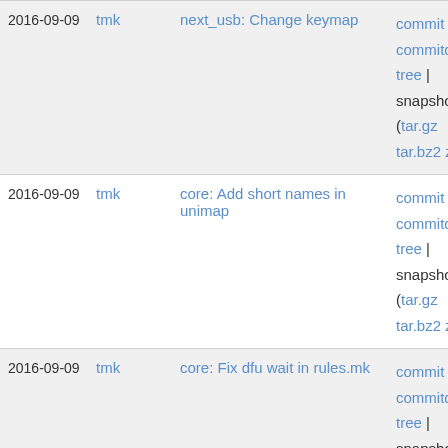| Date | Author | Description | Links |
| --- | --- | --- | --- |
| 2016-09-09 | tmk | next_usb: Change keymap | commit | commitdiff | tree | snapshot (tar.gz tar.bz2 zip) |
| 2016-09-09 | tmk | core: Add short names in unimap | commit | commitdiff | tree | snapshot (tar.gz tar.bz2 zip) |
| 2016-09-09 | tmk | core: Fix dfu wait in rules.mk | commit | commitdiff | tree | snapshot (tar.gz tar.bz2 zip) |
| 2016-09-08 | tmk | hhkb: Fix unimap | commit | commitdiff | tree | snapshot (tar.gz |